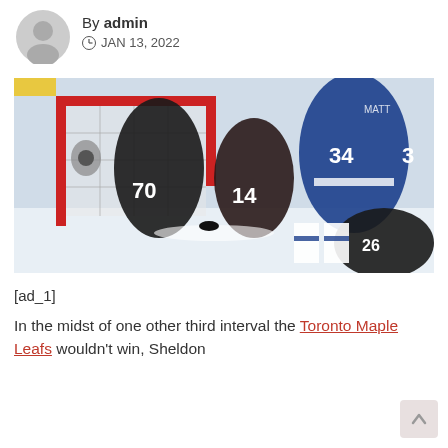By admin
JAN 13, 2022
[Figure (photo): Hockey game action photo showing Arizona Coyotes players (numbers 70 and 14) in dark jerseys competing against Toronto Maple Leafs players (number 34) in white and blue jerseys near a hockey net with red posts.]
[ad_1]
In the midst of one other third interval the Toronto Maple Leafs wouldn't win, Sheldon